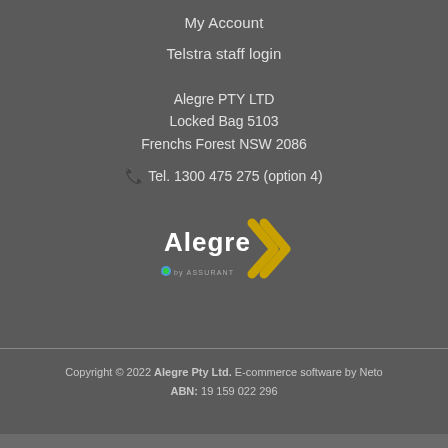My Account
Telstra staff login
Alegre PTY LTD
Locked Bag 5103
Frenchs Forest NSW 2086
Tel. 1300 475 275 (option 4)
[Figure (logo): Alegre logo with gold chevron arrow and 'by Assurant' tagline below]
Copyright © 2022 Alegre Pty Ltd. E-commerce software by Neto ABN: 19 159 022 296